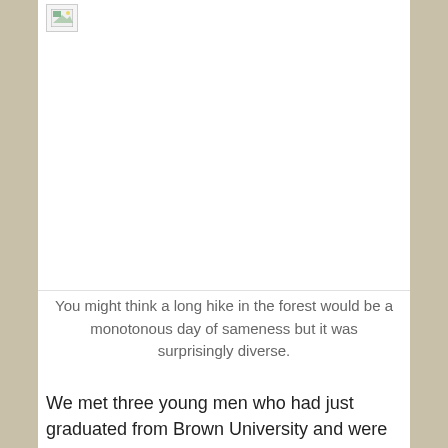[Figure (photo): Broken/missing image placeholder with image icon in top-left corner, large white space area]
You might think a long hike in the forest would be a monotonous day of sameness but it was surprisingly diverse.
We met three young men who had just graduated from Brown University and were celebrating with